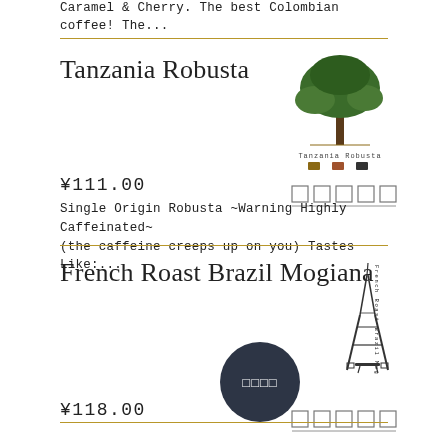Caramel & Cherry. The best Colombian coffee! The...
Tanzania Robusta
[Figure (illustration): Tanzania Robusta coffee product label with tree illustration and small flavor icons]
¥111.00
[Figure (other): Five empty rating/selection checkboxes]
Single Origin Robusta ~Warning Highly Caffeinated~ (the caffeine creeps up on you) Tastes Like:...
French Roast Brazil Mogiana
[Figure (illustration): Dark circle button with characters, and French Roast Brazil Mogiana Eiffel Tower illustration]
¥118.00
[Figure (other): Five empty rating/selection checkboxes]